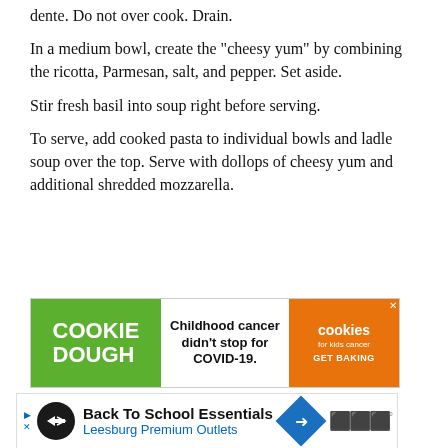dente. Do not over cook. Drain.
In a medium bowl, create the "cheesy yum" by combining the ricotta, Parmesan, salt, and pepper. Set aside.
Stir fresh basil into soup right before serving.
To serve, add cooked pasta to individual bowls and ladle soup over the top. Serve with dollops of cheesy yum and additional shredded mozzarella.
[Figure (other): Cookie Dough advertisement: green section with 'COOKIE DOUGH' text, middle section reading 'Childhood cancer didn't stop for COVID-19.', orange section with cookies for kids cancer logo and 'GET BAKING']
[Figure (other): Back To School Essentials - Leesburg Premium Outlets advertisement banner]